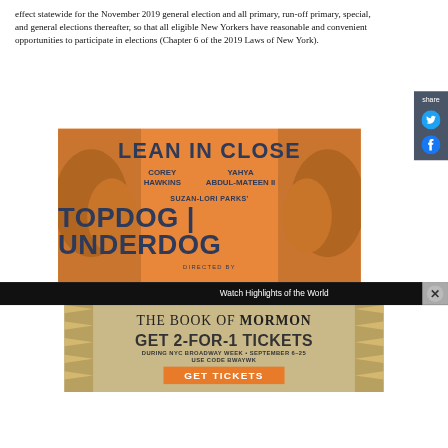effect statewide for the November 2019 general election and all primary, run-off primary, special, and general elections thereafter, so that all eligible New Yorkers have reasonable and convenient opportunities to participate in elections (Chapter 6 of the 2019 Laws of New York).
[Figure (illustration): Advertisement for Broadway show 'Topdog/Underdog' with text 'LEAN IN CLOSE', featuring Corey Hawkins and Yahya Abdul-Mateen II, directed by, Suzan-Lori Parks' Topdog/Underdog, on orange background with stylized portraits of two men facing each other.]
[Figure (screenshot): Black bar with text 'Watch Highlights of the World' and a close/X button]
[Figure (illustration): Advertisement for 'The Book of Mormon' Broadway show, GET 2-FOR-1 TICKETS during NYC Broadway Week, September 6-25, use code BWAYWK, GET TICKETS button, on gold/tan textured background.]